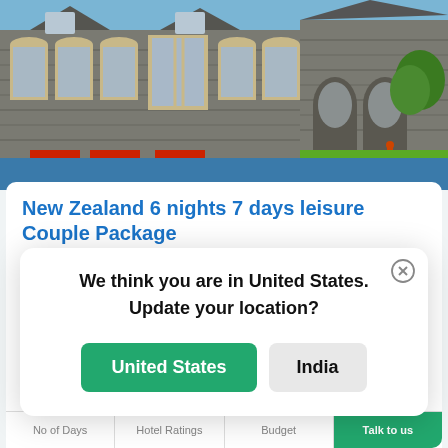[Figure (photo): Exterior of a historic stone Gothic-style building with arched windows, red benches, and green lawn, under blue sky.]
New Zealand 6 nights 7 days leisure Couple Package
6 nights: Auckland, Queenstown +1 city
We think you are in United States. Update your location?
United States
India
No of Days | Hotel Ratings | Budget | Talk to us